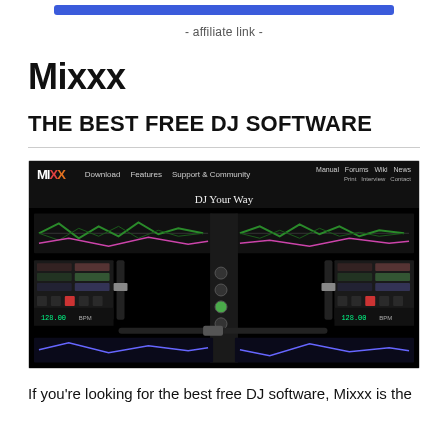- affiliate link -
Mixxx
THE BEST FREE DJ SOFTWARE
[Figure (screenshot): Screenshot of the Mixxx DJ software website showing the homepage with navigation links (Download, Features, Support & Community, Manual, Forums, Wiki, News), the tagline 'DJ Your Way', and a preview of the Mixxx DJ interface software with dark background and colorful waveform/mixer controls.]
If you're looking for the best free DJ software, Mixxx is the